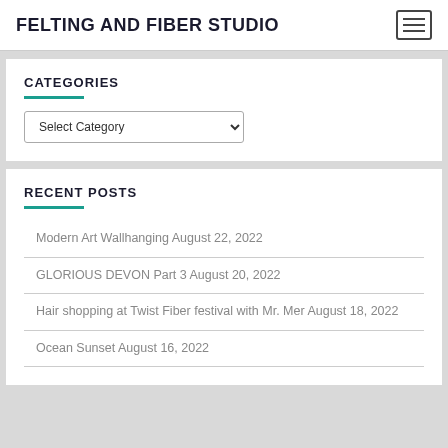FELTING AND FIBER STUDIO
CATEGORIES
Select Category
RECENT POSTS
Modern Art Wallhanging August 22, 2022
GLORIOUS DEVON Part 3 August 20, 2022
Hair shopping at Twist Fiber festival with Mr. Mer August 18, 2022
Ocean Sunset August 16, 2022